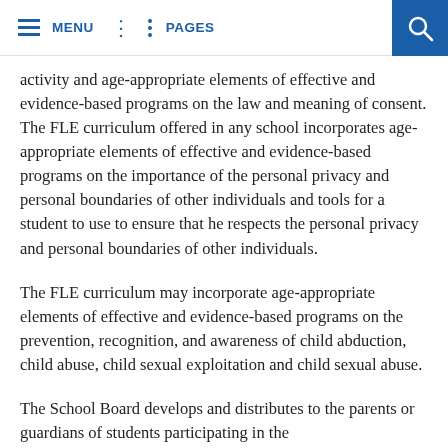MENU  PAGES
activity and age-appropriate elements of effective and evidence-based programs on the law and meaning of consent. The FLE curriculum offered in any school incorporates age-appropriate elements of effective and evidence-based programs on the importance of the personal privacy and personal boundaries of other individuals and tools for a student to use to ensure that he respects the personal privacy and personal boundaries of other individuals.
The FLE curriculum may incorporate age-appropriate elements of effective and evidence-based programs on the prevention, recognition, and awareness of child abduction, child abuse, child sexual exploitation and child sexual abuse.
The School Board develops and distributes to the parents or guardians of students participating in the